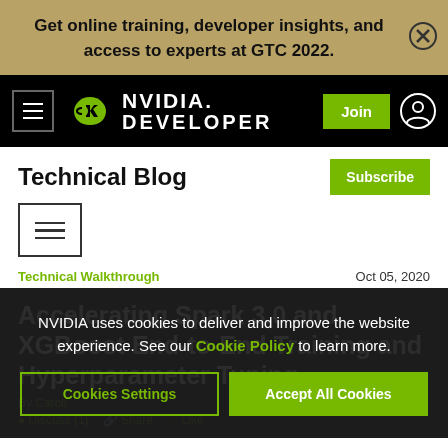Get online training, developer insights, and access to experts at GTC 2022.
[Figure (logo): NVIDIA Developer logo with green eye icon, hamburger menu, Join button, and user icon on black navbar]
Technical Blog
[Figure (other): Hamburger/filter menu icon with three horizontal lines in a bordered box]
Technical Walkthrough
Oct 05, 2020
Accelerating Spark 3.0 and XGBoost End-to-End Training and Hyperparameter Tuning
By Carolyn...
Discuss (1)  Share  Like
NVIDIA uses cookies to deliver and improve the website experience. See our Cookie Policy to learn more.
Cookies Settings
Accept All Cookies